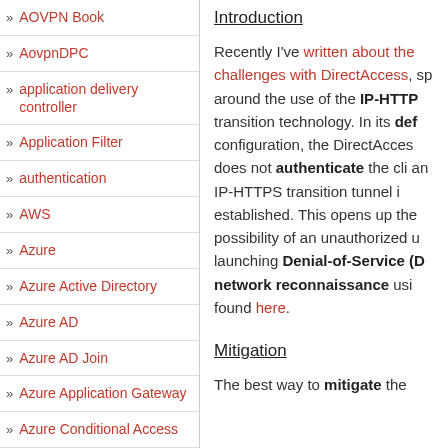» AOVPN Book
» AovpnDPC
» application delivery controller
» Application Filter
» authentication
» AWS
» Azure
» Azure Active Directory
» Azure AD
» Azure AD Join
» Azure Application Gateway
» Azure Conditional Access
Introduction
Recently I've written about the challenges with DirectAccess, specifically around the use of the IP-HTTPS transition technology. In its default configuration, the DirectAccess does not authenticate the client establishing an IP-HTTPS transition tunnel before it is established. This opens up the possibility of an unauthorized user launching Denial-of-Service (DoS) attacks or performing network reconnaissance using this tunnel. More details can be found here.
Mitigation
The best way to mitigate thes...